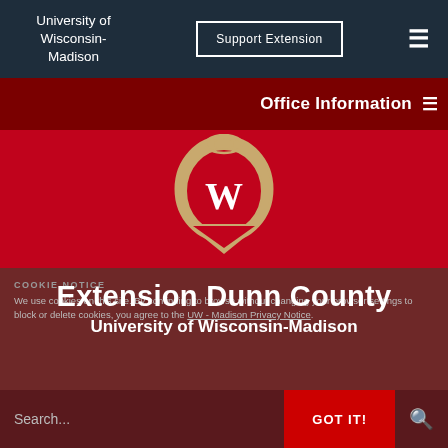University of Wisconsin-Madison
Office Information
[Figure (logo): University of Wisconsin-Madison crest/shield logo with W on red background, on red banner]
Extension Dunn County
University of Wisconsin-Madison
COOKIE NOTICE
We use cookies on this site. By continuing to browse without changing your browser settings to block or delete cookies, you agree to the UW - Madison Privacy Notice.
Search...
GOT IT!